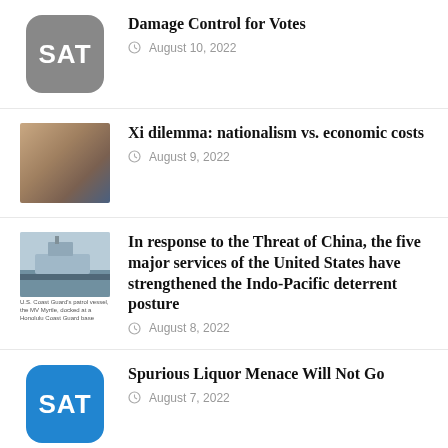Damage Control for Votes
August 10, 2022
Xi dilemma: nationalism vs. economic costs
August 9, 2022
In response to the Threat of China, the five major services of the United States have strengthened the Indo-Pacific deterrent posture
August 8, 2022
Spurious Liquor Menace Will Not Go
August 7, 2022